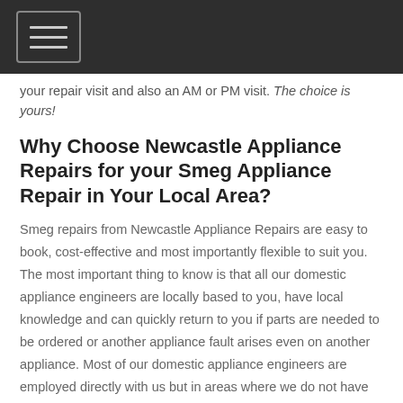[hamburger menu button]
your repair visit and also an AM or PM visit. The choice is yours!
Why Choose Newcastle Appliance Repairs for your Smeg Appliance Repair in Your Local Area?
Smeg repairs from Newcastle Appliance Repairs are easy to book, cost-effective and most importantly flexible to suit you. The most important thing to know is that all our domestic appliance engineers are locally based to you, have local knowledge and can quickly return to you if parts are needed to be ordered or another appliance fault arises even on another appliance. Most of our domestic appliance engineers are employed directly with us but in areas where we do not have this cover we use a local